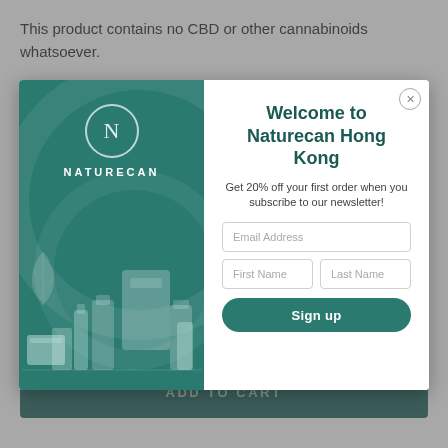This product contains no CBD or other cannabinoids whatsoever.
[Figure (screenshot): Naturecan Hong Kong modal popup overlay on a product page. Left panel is teal with Naturecan logo (N in circle) and product images. Right panel is white with signup form.]
ADD TO CART